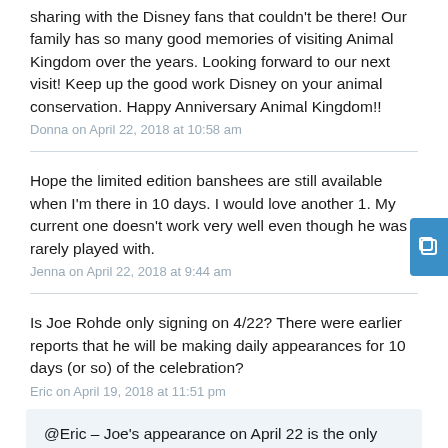sharing with the Disney fans that couldn't be there! Our family has so many good memories of visiting Animal Kingdom over the years. Looking forward to our next visit! Keep up the good work Disney on your animal conservation. Happy Anniversary Animal Kingdom!!
Donna on April 22, 2018 at 10:58 am
Hope the limited edition banshees are still available when I'm there in 10 days. I would love another 1. My current one doesn't work very well even though he was rarely played with.
Jenna on April 22, 2018 at 9:44 am
Is Joe Rohde only signing on 4/22? There were earlier reports that he will be making daily appearances for 10 days (or so) of the celebration?
Eric on April 19, 2018 at 11:51 pm
@Eric – Joe's appearance on April 22 is the only merchandise signing event. He will be participating in